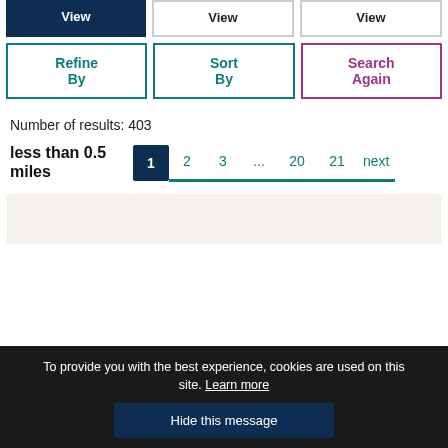[Figure (screenshot): Three 'View' buttons side by side with dark navy background]
[Figure (screenshot): Three action buttons: 'Refine By' (teal), 'Sort By' (teal), 'Search Again' (purple/pink)]
Number of results: 403
less than 0.5 miles
Pagination: 1, 2, 3, ..., 20, 21, next
To provide you with the best experience, cookies are used on this site. Learn more
Hide this message